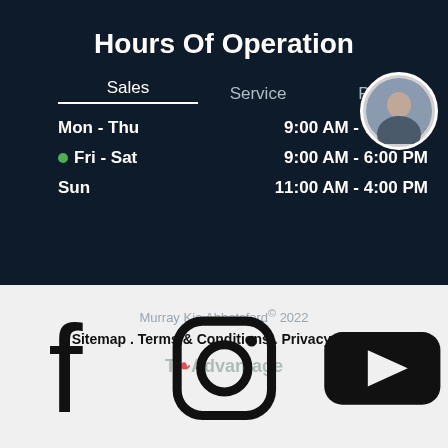Hours Of Operation
|  | Sales | Service | Parts |
| --- | --- | --- | --- |
| Mon - Thu |  |  | 9:00 AM - 7:00 PM |
| Fri - Sat |  |  | 9:00 AM - 6:00 PM |
| Sun |  |  | 11:00 AM - 4:00 PM |
Murray Kia Abbotsford© 2022
Sitemap . Terms & Conditions . Privacy Policy
[Figure (logo): T-Advantage logo with maple leaf icon]
[Figure (infographic): Social media icons: Facebook, Instagram, YouTube]